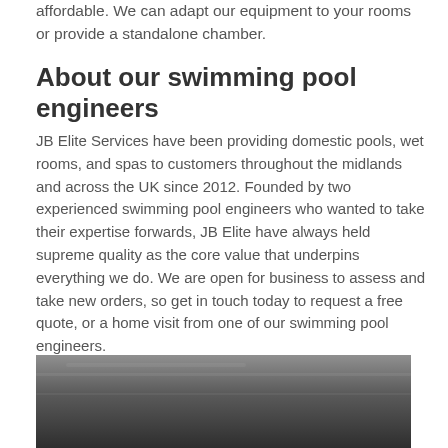affordable. We can adapt our equipment to your rooms or provide a standalone chamber.
About our swimming pool engineers
JB Elite Services have been providing domestic pools, wet rooms, and spas to customers throughout the midlands and across the UK since 2012. Founded by two experienced swimming pool engineers who wanted to take their expertise forwards, JB Elite have always held supreme quality as the core value that underpins everything we do. We are open for business to assess and take new orders, so get in touch today to request a free quote, or a home visit from one of our swimming pool engineers.
[Figure (photo): Partial view of a swimming pool or spa surface, dark tones with subtle lighting reflection]